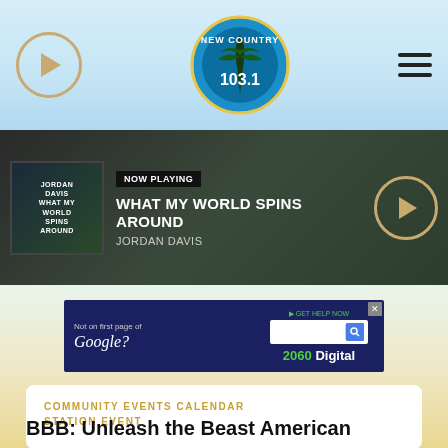New Country 103.1
NOW PLAYING | WHAT MY WORLD SPINS AROUND | JORDAN DAVIS
[Figure (screenshot): Advertisement banner: Not on first page of Google? GET HELP NOW 2060 Digital]
COMMUNITY EVENTS CALENDAR
STATION EVENT
This event has passed.
BBB: Unleash the Beast American